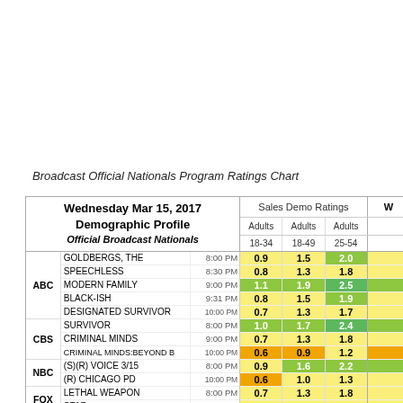Broadcast Official Nationals Program Ratings Chart
| Network | Program | Time | Adults 18-34 | Adults 18-49 | Adults 25-54 | W |
| --- | --- | --- | --- | --- | --- | --- |
| ABC | GOLDBERGS, THE | 8:00 PM | 0.9 | 1.5 | 2.0 |  |
|  | SPEECHLESS | 8:30 PM | 0.8 | 1.3 | 1.8 |  |
|  | MODERN FAMILY | 9:00 PM | 1.1 | 1.9 | 2.5 |  |
|  | BLACK-ISH | 9:31 PM | 0.8 | 1.5 | 1.9 |  |
|  | DESIGNATED SURVIVOR | 10:00 PM | 0.7 | 1.3 | 1.7 |  |
| CBS | SURVIVOR | 8:00 PM | 1.0 | 1.7 | 2.4 |  |
|  | CRIMINAL MINDS | 9:00 PM | 0.7 | 1.3 | 1.8 |  |
|  | CRIMINAL MINDS:BEYOND B | 10:00 PM | 0.6 | 0.9 | 1.2 |  |
| NBC | (S)(R) VOICE 3/15 | 8:00 PM | 0.9 | 1.6 | 2.2 |  |
|  | (R) CHICAGO PD | 10:00 PM | 0.6 | 1.0 | 1.3 |  |
| FOX | LETHAL WEAPON | 8:00 PM | 0.7 | 1.3 | 1.8 |  |
|  | STAR | 9:01 PM | 0.9 | 1.3 | 1.5 |  |